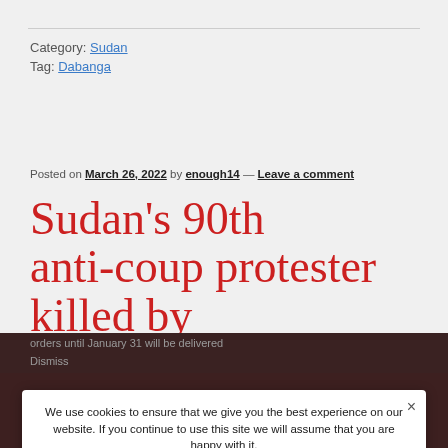Category: Sudan
Tag: Dabanga
Posted on March 26, 2022 by enough14 — Leave a comment
Sudan's 90th anti-coup protester killed by
On February 1, 2021, Our Online-Shop will be closed. All orders until January 31 will be delivered Dismiss
We use cookies to ensure that we give you the best experience on our website. If you continue to use this site we will assume that you are happy with it.